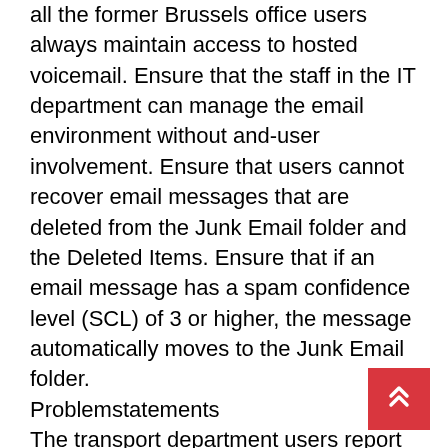all the former Brussels office users always maintain access to hosted voicemail. Ensure that the staff in the IT department can manage the email environment without and-user involvement. Ensure that users cannot recover email messages that are deleted from the Junk Email folder and the Deleted Items. Ensure that if an email message has a spam confidence level (SCL) of 3 or higher, the message automatically moves to the Junk Email folder.
Problemstatements
The transport department users report that accessing a public folder named TransportPF is sometimes very slow. Users in the customer service department report that Microsoft Outlook sometimes